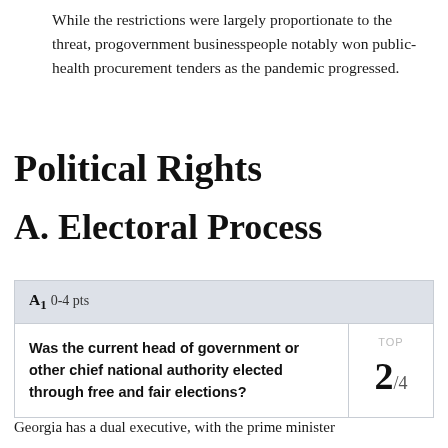While the restrictions were largely proportionate to the threat, progovernment businesspeople notably won public-health procurement tenders as the pandemic progressed.
Political Rights
A. Electoral Process
| A1  0-4 pts |  |
| --- | --- |
| Was the current head of government or other chief national authority elected through free and fair elections? | 2/4 |
Georgia has a dual executive, with the prime minister